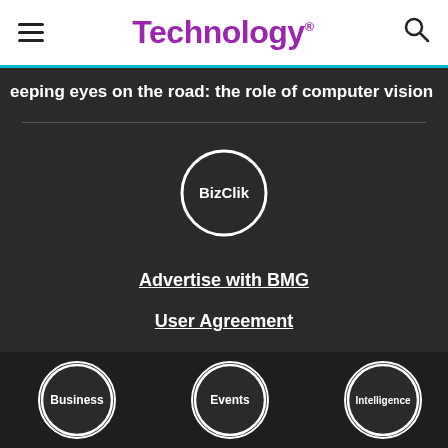Technology
eeping eyes on the road: the role of computer vision
[Figure (logo): BizClik circular logo with white circle border and BizClik text in white on dark background]
Advertise with BMG
User Agreement
Privacy Policy
[Figure (logo): Business circular logo - white circle border on dark background]
[Figure (logo): Events circular logo - white circle border on dark background]
[Figure (logo): Intelligence circular logo - white circle border on dark background, partially clipped]